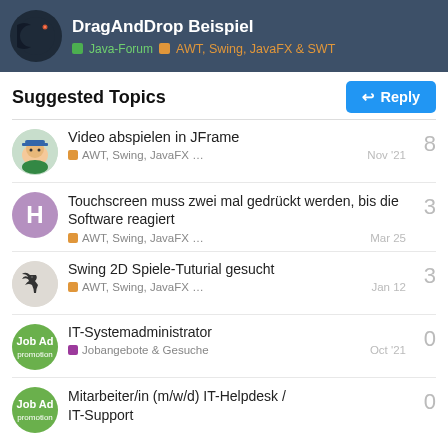DragAndDrop Beispiel — Java-Forum > AWT, Swing, JavaFX & SWT
Suggested Topics
Video abspielen in JFrame — AWT, Swing, JavaFX … — Nov '21 — 8
Touchscreen muss zwei mal gedrückt werden, bis die Software reagiert — AWT, Swing, JavaFX … — Mar 25 — 3
Swing 2D Spiele-Tuturial gesucht — AWT, Swing, JavaFX … — Jan 12 — 3
IT-Systemadministrator — Jobangebote & Gesuche — Oct '21 — 0
Mitarbeiter/in (m/w/d) IT-Helpdesk / IT-Support — 0